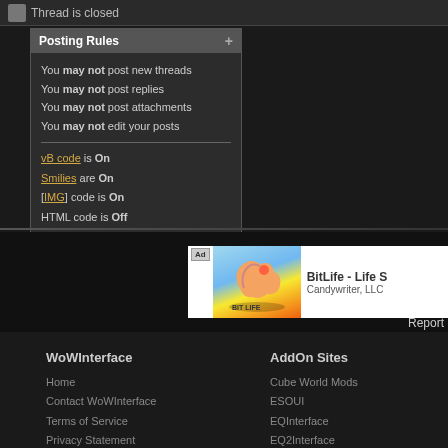Thread is closed
Posting Rules
You may not post new threads
You may not post replies
You may not post attachments
You may not edit your posts
vB code is On
Smilies are On
[IMG] code is On
HTML code is Off
[Figure (other): Advertisement banner for BitLife - Life S by Candywriter LLC, showing a flexing arm graphic]
Report
WoWInterface
AddOn Sites
Home
Contact WoWInterface
Terms of Service
Privacy Statement
Top
Cube World Mods
ESOUI
EQInterface
EQ2Interface
LotROInterface
Riftui
SecretUI
Swtorui
WoWInterface